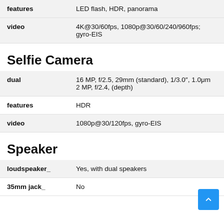| features | LED flash, HDR, panorama |
| video | 4K@30/60fps, 1080p@30/60/240/960fps; gyro-EIS |
Selfie Camera
| dual | 16 MP, f/2.5, 29mm (standard), 1/3.0″, 1.0μm
2 MP, f/2.4, (depth) |
| features | HDR |
| video | 1080p@30/120fps, gyro-EIS |
Speaker
| loudspeaker_ | Yes, with dual speakers |
| 35mm jack_ | No |